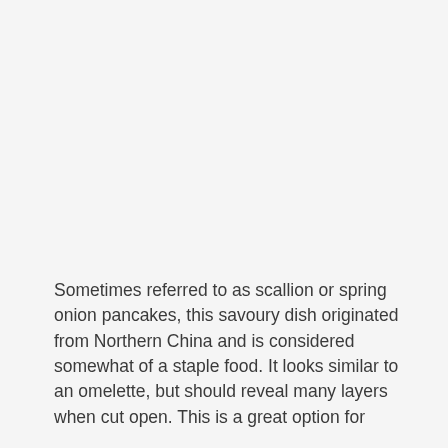Sometimes referred to as scallion or spring onion pancakes, this savoury dish originated from Northern China and is considered somewhat of a staple food. It looks similar to an omelette, but should reveal many layers when cut open. This is a great option for